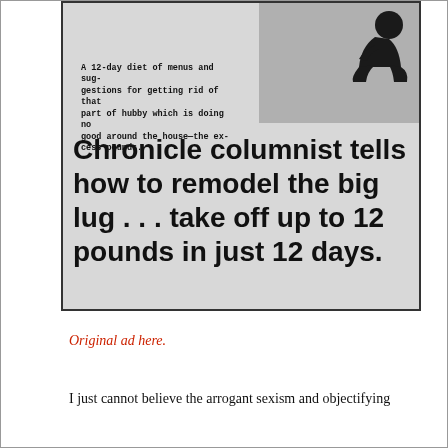[Figure (illustration): Newspaper advertisement clipping with a figure silhouette at top right and bold headline text. Shows a 12-day diet advertisement from the Chronicle.]
A 12-day diet of menus and suggestions for getting rid of that part of hubby which is doing no good around the house—the excess pounds.
Chronicle columnist tells how to remodel the big lug . . . take off up to 12 pounds in just 12 days.
Original ad here.
I just cannot believe the arrogant sexism and objectifying behavior of...